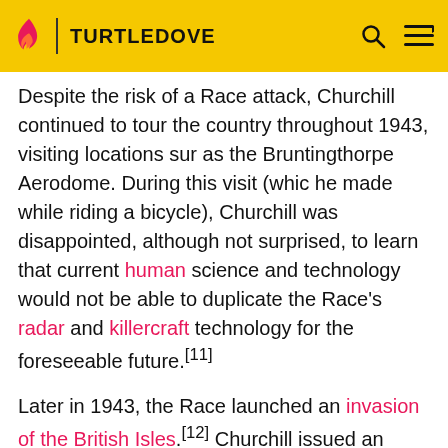TURTLEDOVE
Despite the risk of a Race attack, Churchill continued to tour the country throughout 1943, visiting locations such as the Bruntingthorpe Aerodome. During this visit (which he made while riding a bicycle), Churchill was disappointed, although not surprised, to learn that current human science and technology would not be able to duplicate the Race's radar and killercraft technology for the foreseeable future.[11]
Later in 1943, the Race launched an invasion of the British Isles.[12] Churchill issued an ultimatum: the Race had two days to evacuate Britain, or they would be exposed to a type of warfare they had not yet seen.[13] Fleetlord Atvar believed Churchill was referring to atomic weapons, and continued the attack. Instead, Churchill ordered the use of